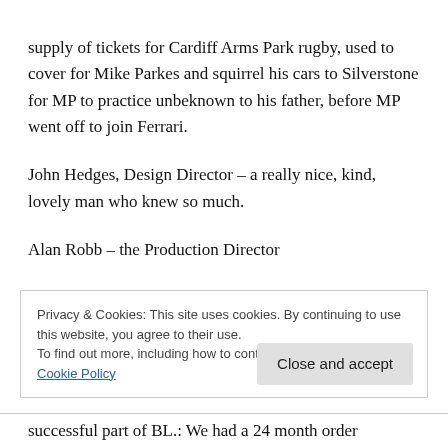supply of tickets for Cardiff Arms Park rugby, used to cover for Mike Parkes and squirrel his cars to Silverstone for MP to practice unbeknown to his father, before MP went off to join Ferrari.
John Hedges, Design Director – a really nice, kind, lovely man who knew so much.
Alan Robb – the Production Director
Privacy & Cookies: This site uses cookies. By continuing to use this website, you agree to their use.
To find out more, including how to control cookies, see here:
Cookie Policy
successful part of BL.: We had a 24 month order